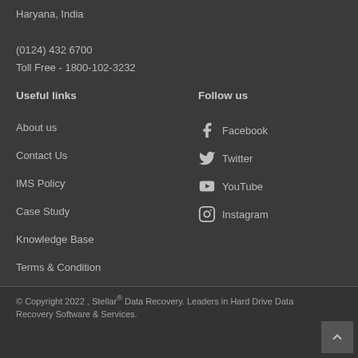Haryana, India
(0124) 432 6700
Toll Free - 1800-102-3232
Useful links
Follow us
About us
Contact Us
IMS Policy
Case Study
Knowledge Base
Terms & Condition
Facebook
Twitter
YouTube
Instagram
© Copyright 2022 , Stellar® Data Recovery. Leaders in Hard Drive Data Recovery Software & Services.